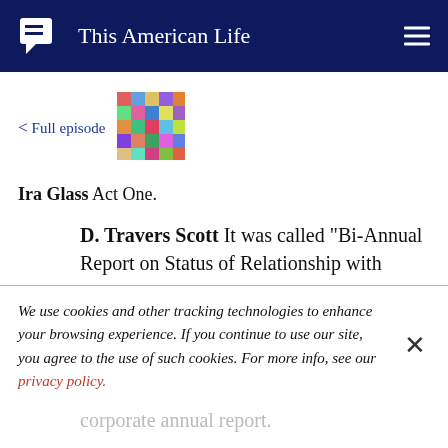This American Life
< Full episode
[Figure (photo): Small colorful thumbnail image for the episode]
Ira Glass  Act One.
D. Travers Scott  It was called "Bi-Annual Report on Status of Relationship with
We use cookies and other tracking technologies to enhance your browsing experience. If you continue to use our site, you agree to the use of such cookies. For more info, see our privacy policy.
corporate annual report.